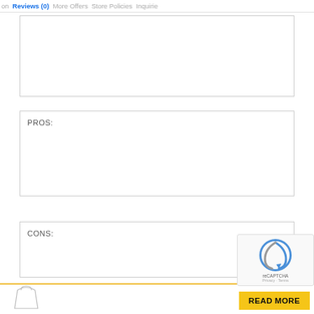on  Reviews (0)  More Offers  Store Policies  Inquirie
PROS:
CONS:
[Figure (screenshot): reCAPTCHA widget overlay in bottom-right corner]
[Figure (illustration): Small bag/purse icon in bottom-left corner]
READ MORE